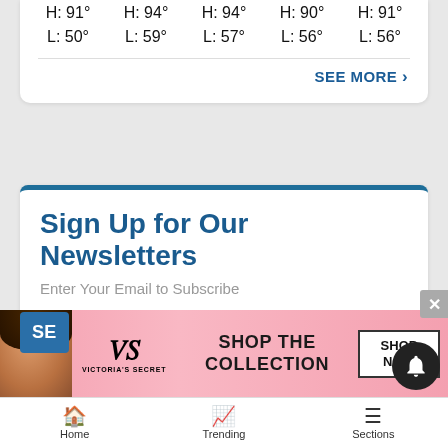| H: 91° | H: 94° | H: 94° | H: 90° | H: 91° |
| L: 50° | L: 59° | L: 57° | L: 56° | L: 56° |
SEE MORE ›
Sign Up for Our Newsletters
Enter Your Email to Subscribe
Email
Required
[Figure (screenshot): Victoria's Secret advertisement banner with model, VS logo, SHOP THE COLLECTION text, and SHOP NOW button]
[Figure (other): Dark circular notification bell button]
Home   Trending   Sections